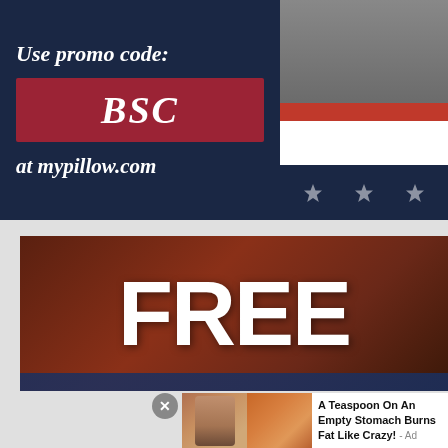[Figure (photo): MyPillow advertisement on dark navy background. Left side shows promo text 'Use promo code:' with red box containing 'BSC' and text 'at mypillow.com'. Right side shows a photo of a person at a rally with an American flag backdrop (red, white, and blue with stars).]
[Figure (photo): Advertisement showing large bold white text 'FREE' overlaid on a dark reddish-brown patriotic background.]
[Figure (photo): Pop-up advertisement overlay showing a fitness photo and a spice/powder photo with text: 'A Teaspoon On An Empty Stomach Burns Fat Like Crazy! - Ad']
A Teaspoon On An Empty Stomach Burns Fat Like Crazy! - Ad